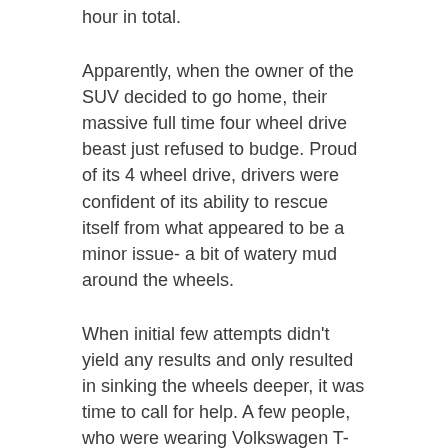hour in total.
Apparently, when the owner of the SUV decided to go home, their massive full time four wheel drive beast just refused to budge. Proud of its 4 wheel drive, drivers were confident of its ability to rescue itself from what appeared to be a minor issue- a bit of watery mud around the wheels.
When initial few attempts didn't yield any results and only resulted in sinking the wheels deeper, it was time to call for help. A few people, who were wearing Volkswagen T-shirts and looked authoritative, offered advise on which direction to steer and what to do. That, combined with manual pushing, didn't move the car out. Another person- may be a VW official or an event management company person wearing event T-shirt, offered to try. His attempts too failed.
Watch the Famigtom ride along here, which was